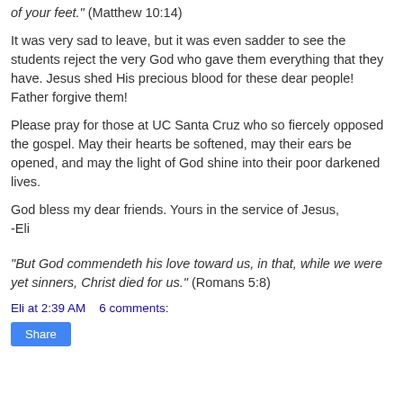of your feet." (Matthew 10:14)
It was very sad to leave, but it was even sadder to see the students reject the very God who gave them everything that they have. Jesus shed His precious blood for these dear people! Father forgive them!
Please pray for those at UC Santa Cruz who so fiercely opposed the gospel. May their hearts be softened, may their ears be opened, and may the light of God shine into their poor darkened lives.
God bless my dear friends. Yours in the service of Jesus,
-Eli
"But God commendeth his love toward us, in that, while we were yet sinners, Christ died for us." (Romans 5:8)
Eli at 2:39 AM    6 comments:
Share